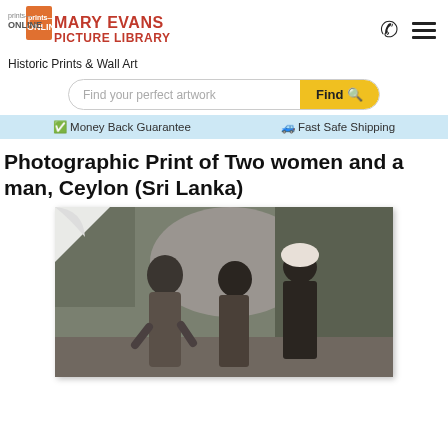MARY EVANS PICTURE LIBRARY — Prints Online — Historic Prints & Wall Art
Find your perfect artwork
Money Back Guarantee   Fast Safe Shipping
Photographic Print of Two women and a man, Ceylon (Sri Lanka)
[Figure (photo): Black and white historical photograph showing two women and a man standing outdoors in Ceylon (Sri Lanka). The man wears a white turban and dark clothing. The women are dressed in saris. Rocks and tropical foliage are visible in the background. The photo has a page-curl effect at the top-left corner.]